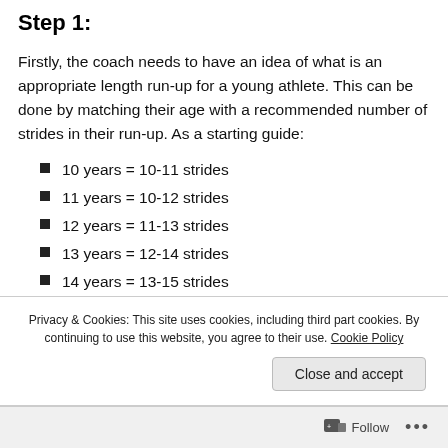Step 1:
Firstly, the coach needs to have an idea of what is an appropriate length run-up for a young athlete. This can be done by matching their age with a recommended number of strides in their run-up. As a starting guide:
10 years = 10-11 strides
11 years = 10-12 strides
12 years = 11-13 strides
13 years = 12-14 strides
14 years = 13-15 strides
15 years = 14-16 strides
Privacy & Cookies: This site uses cookies, including third part cookies. By continuing to use this website, you agree to their use. Cookie Policy
Follow ...